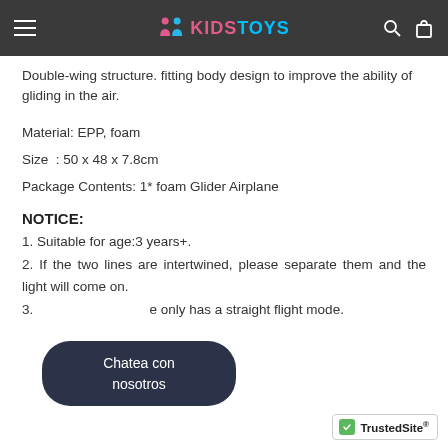KIDSTOYS
Double-wing structure. fitting body design to improve the ability of gliding in the air.
Material: EPP, foam
Size : 50 x 48 x 7.8cm
Package Contents: 1* foam Glider Airplane
NOTICE:
1. Suitable for age:3 years+.
2. If the two lines are intertwined, please separate them and the light will come on.
3. [partially obscured] e only has a straight flight mode.